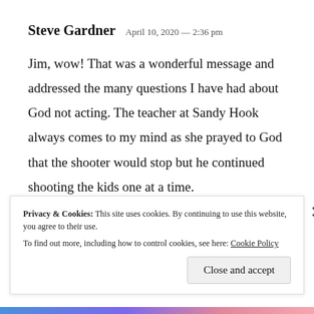Steve Gardner   April 10, 2020 — 2:36 pm
Jim, wow! That was a wonderful message and addressed the many questions I have had about God not acting. The teacher at Sandy Hook always comes to my mind as she prayed to God that the shooter would stop but he continued shooting the kids one at a time.
Privacy & Cookies: This site uses cookies. By continuing to use this website, you agree to their use.
To find out more, including how to control cookies, see here: Cookie Policy
Close and accept